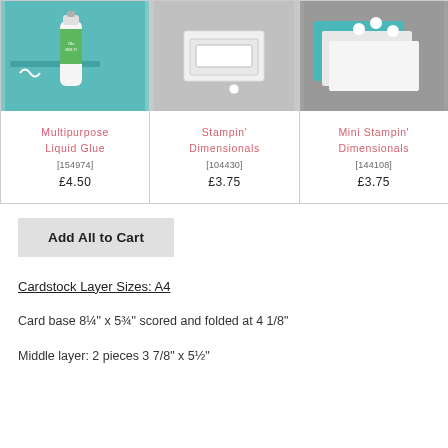[Figure (photo): Three product photos in a grid: Multipurpose Liquid Glue on teal cardstock, Stampin' Dimensionals (white foam squares), Mini Stampin' Dimensionals on stacked cardstock]
| Product | Product | Product |
| --- | --- | --- |
| Multipurpose Liquid Glue
[154974]
£4.50 | Stampin' Dimensionals
[104430]
£3.75 | Mini Stampin' Dimensionals
[144108]
£3.75 |
Add All to Cart
Cardstock Layer Sizes: A4
Card base 8¼" x 5¾" scored and folded at 4 1/8"
Middle layer: 2 pieces 3 7/8" x 5½"